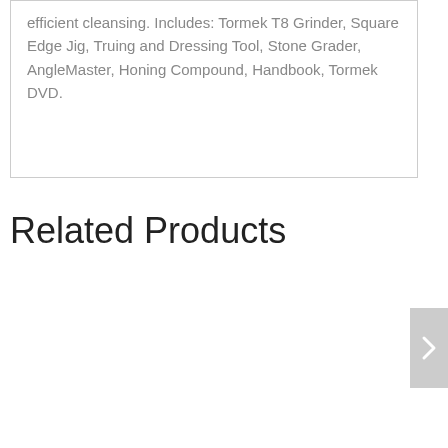efficient cleansing. Includes: Tormek T8 Grinder, Square Edge Jig, Truing and Dressing Tool, Stone Grader, AngleMaster, Honing Compound, Handbook, Tormek DVD.
Related Products